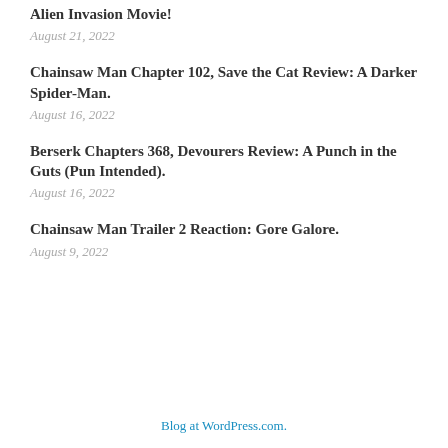Alien Invasion Movie!
August 21, 2022
Chainsaw Man Chapter 102, Save the Cat Review: A Darker Spider-Man.
August 16, 2022
Berserk Chapters 368, Devourers Review: A Punch in the Guts (Pun Intended).
August 16, 2022
Chainsaw Man Trailer 2 Reaction: Gore Galore.
August 9, 2022
Blog at WordPress.com.